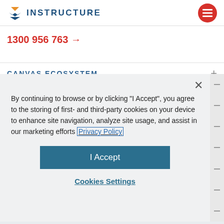INSTRUCTURE
1300 956 763 →
CANVAS ECOSYSTEM
By continuing to browse or by clicking "I Accept", you agree to the storing of first- and third-party cookies on your device to enhance site navigation, analyze site usage, and assist in our marketing efforts Privacy Policy
I Accept
Cookies Settings
Privacy | California Privacy Notice |